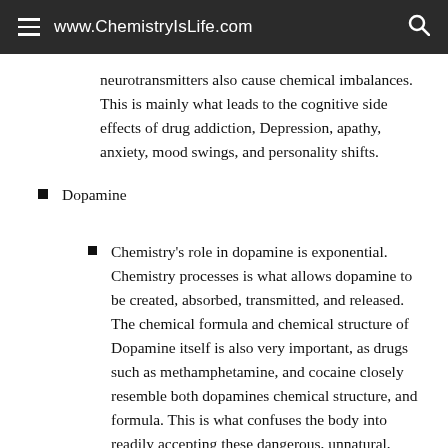www.ChemistryIsLife.com
neurotransmitters also cause chemical imbalances. This is mainly what leads to the cognitive side effects of drug addiction, Depression, apathy, anxiety, mood swings, and personality shifts.
Dopamine
Chemistry's role in dopamine is exponential. Chemistry processes is what allows dopamine to be created, absorbed, transmitted, and released. The chemical formula and chemical structure of Dopamine itself is also very important, as drugs such as methamphetamine, and cocaine closely resemble both dopamines chemical structure, and formula. This is what confuses the body into readily accepting these dangerous, unnatural,